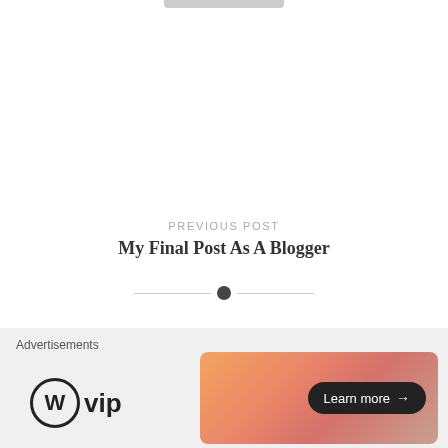[Figure (illustration): Horizontal divider with a dark circle dot in the center and thin lines on each side]
PREVIOUS POST
My Final Post As A Blogger
NEXT POST
The SEX Market
Advertisements
[Figure (logo): WordPress VIP logo — W in circle followed by 'vip' text]
[Figure (illustration): Orange-pink gradient advertisement banner with a 'Learn more →' button in dark rounded rectangle]